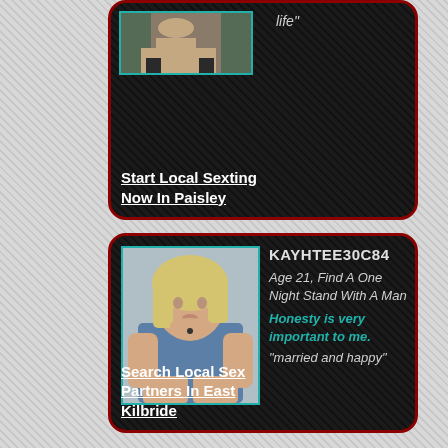[Figure (photo): Top card partially visible - profile photo of person's legs/lower body with teal border]
life"
Start Local Sexting Now In Paisley
[Figure (photo): Woman with blonde hair in blue top, crouching pose, with teal border frame]
KAYHTEE30C84
Age 21, Find A One Night Stand With A Man
Honesty is very important to me.
"married and happy"
Search Local Sex Partners In East Kilbride